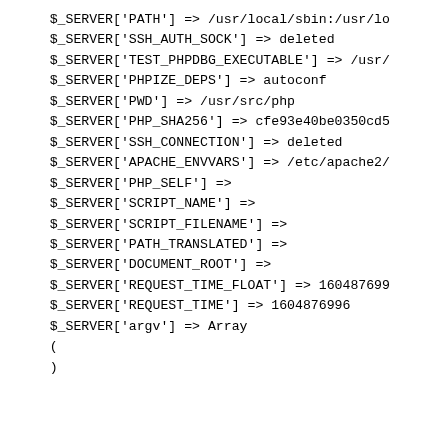$_SERVER['PATH'] => /usr/local/sbin:/usr/lo
$_SERVER['SSH_AUTH_SOCK'] => deleted
$_SERVER['TEST_PHPDBG_EXECUTABLE'] => /usr/
$_SERVER['PHPIZE_DEPS'] => autoconf
$_SERVER['PWD'] => /usr/src/php
$_SERVER['PHP_SHA256'] => cfe93e40be0350cd5
$_SERVER['SSH_CONNECTION'] => deleted
$_SERVER['APACHE_ENVVARS'] => /etc/apache2/
$_SERVER['PHP_SELF'] =>
$_SERVER['SCRIPT_NAME'] =>
$_SERVER['SCRIPT_FILENAME'] =>
$_SERVER['PATH_TRANSLATED'] =>
$_SERVER['DOCUMENT_ROOT'] =>
$_SERVER['REQUEST_TIME_FLOAT'] => 160487699
$_SERVER['REQUEST_TIME'] => 1604876996
$_SERVER['argv'] => Array
(
)